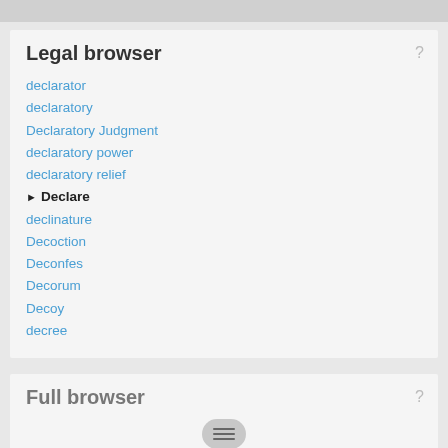Legal browser
declarator
declaratory
Declaratory Judgment
declaratory power
declaratory relief
▶ Declare
declinature
Decoction
Deconfes
Decorum
Decoy
decree
Full browser